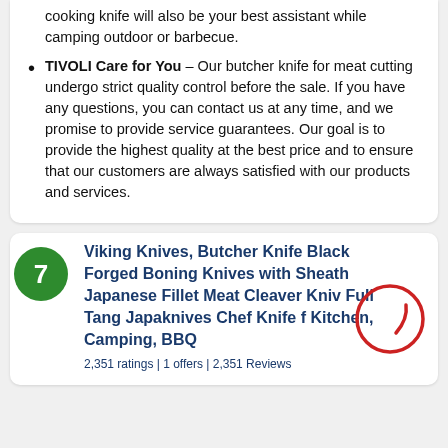cooking knife will also be your best assistant while camping outdoor or barbecue.
TIVOLI Care for You – Our butcher knife for meat cutting undergo strict quality control before the sale. If you have any questions, you can contact us at any time, and we promise to provide service guarantees. Our goal is to provide the highest quality at the best price and to ensure that our customers are always satisfied with our products and services.
Viking Knives, Butcher Knife Black Forged Boning Knives with Sheath Japanese Fillet Meat Cleaver Knive Full Tang Japaknives Chef Knife for Kitchen, Camping, BBQ
2,351 ratings | 1 offers | 2,351 Reviews